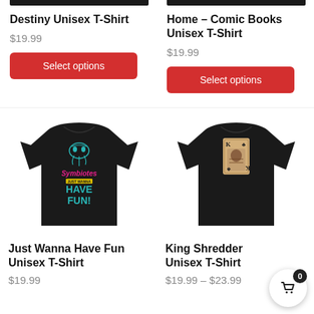[Figure (photo): Black t-shirt product image strip (cropped top)]
Destiny Unisex T-Shirt
$19.99
Select options
[Figure (photo): Black t-shirt product image strip (cropped top)]
Home – Comic Books Unisex T-Shirt
$19.99
Select options
[Figure (photo): Black t-shirt with Symbiotes Just Wanna Have Fun graphic design]
Just Wanna Have Fun Unisex T-Shirt
$19.99
[Figure (photo): Black t-shirt with King of Clubs playing card graphic (King Shredder design)]
King Shredder Unisex T-Shirt
$19.99 – $23.99